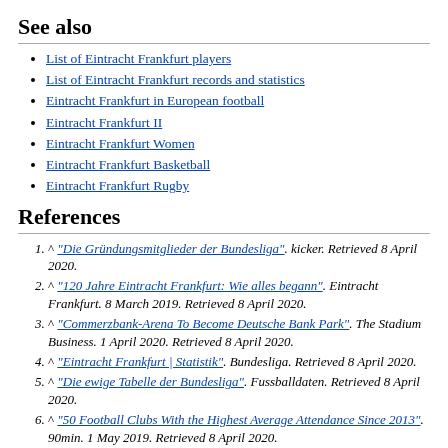See also
List of Eintracht Frankfurt players
List of Eintracht Frankfurt records and statistics
Eintracht Frankfurt in European football
Eintracht Frankfurt II
Eintracht Frankfurt Women
Eintracht Frankfurt Basketball
Eintracht Frankfurt Rugby
References
^ "Die Gründungsmitglieder der Bundesliga". kicker. Retrieved 8 April 2020.
^ "120 Jahre Eintracht Frankfurt: Wie alles begann". Eintracht Frankfurt. 8 March 2019. Retrieved 8 April 2020.
^ "Commerzbank-Arena To Become Deutsche Bank Park". The Stadium Business. 1 April 2020. Retrieved 8 April 2020.
^ "Eintracht Frankfurt | Statistik". Bundesliga. Retrieved 8 April 2020.
^ "Die ewige Tabelle der Bundesliga". Fussballdaten. Retrieved 8 April 2020.
^ "50 Football Clubs With the Highest Average Attendance Since 2013". 90min. 1 May 2019. Retrieved 8 April 2020.